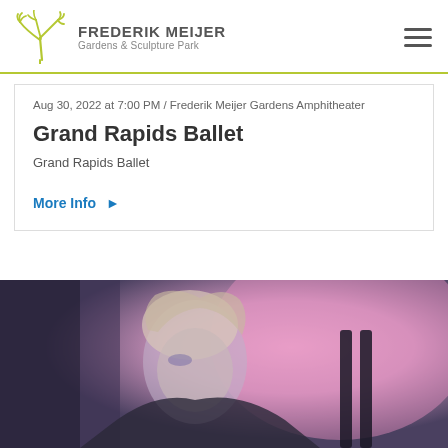FREDERIK MEIJER Gardens & Sculpture Park
Aug 30, 2022 at 7:00 PM / Frederik Meijer Gardens Amphitheater
Grand Rapids Ballet
Grand Rapids Ballet
More Info ▶
[Figure (photo): A woman with blonde hair photographed in a purple/pink toned artistic lighting, wearing dark clothing, looking to the side]